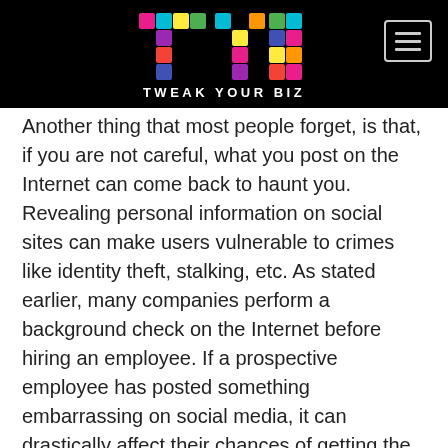[Figure (logo): Tweak Your Biz logo with colorful TYB letters on black background]
Another thing that most people forget, is that, if you are not careful, what you post on the Internet can come back to haunt you. Revealing personal information on social sites can make users vulnerable to crimes like identity theft, stalking, etc. As stated earlier, many companies perform a background check on the Internet before hiring an employee. If a prospective employee has posted something embarrassing on social media, it can drastically affect their chances of getting the job.
Cyberbullying is also becoming frequent. If you are not careful, unscrupulous people can target you for cyberbullying and harassment on social sites. School children, young girls, and women can fall prey online